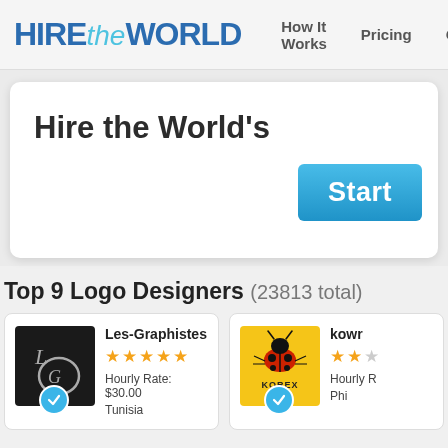HIRE the WORLD — How It Works  Pricing  Ga
Hire the World's
Start
Top 9 Logo Designers (23813 total)
[Figure (screenshot): Profile card for Les-Graphistes: black logo with stylized LG, 5 stars, Hourly Rate: $30.00, Tunisia, verified badge]
[Figure (screenshot): Profile card for kowr (KOREX): yellow background ladybug logo, stars visible, Hourly Rate visible, Philippines, verified badge]